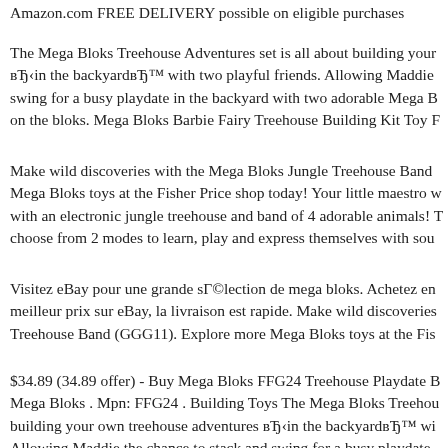Amazon.com FREE DELIVERY possible on eligible purchases
The Mega Bloks Treehouse Adventures set is all about building your own “in the backyard” with two playful friends. Allowing Maddie swing for a busy playdate in the backyard with two adorable Mega B on the bloks. Mega Bloks Barbie Fairy Treehouse Building Kit Toy F
Make wild discoveries with the Mega Bloks Jungle Treehouse Band Mega Bloks toys at the Fisher Price shop today! Your little maestro with an electronic jungle treehouse and band of 4 adorable animals! choose from 2 modes to learn, play and express themselves with sou
Visitez eBay pour une grande sélection de mega bloks. Achetez en meilleur prix sur eBay, la livraison est rapide. Make wild discoveries Treehouse Band (GGG11). Explore more Mega Bloks toys at the Fis
$34.89 (34.89 offer) - Buy Mega Bloks FFG24 Treehouse Playdate B Mega Bloks . Mpn: FFG24 . Building Toys The Mega Bloks Treehou building your own treehouse adventures “in the backyard” wi Allowing Maddie the chance to stack and swing for a busy playdate